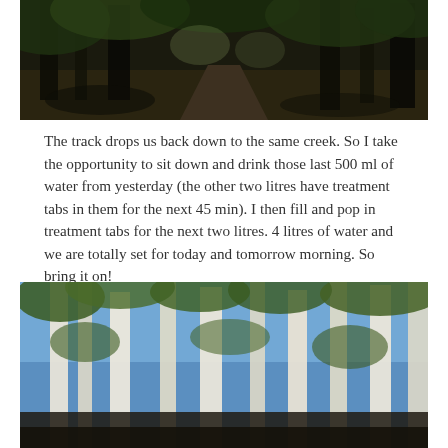[Figure (photo): Photograph of a forest track/path through dark eucalyptus trees with dappled light and shadows on the ground]
The track drops us back down to the same creek. So I take the opportunity to sit down and drink those last 500 ml of water from yesterday (the other two litres have treatment tabs in them for the next 45 min). I then fill and pop in treatment tabs for the next two litres. 4 litres of water and we are totally set for today and tomorrow morning. So bring it on!
[Figure (photo): Photograph looking up through tall eucalyptus trees toward a blue sky, with white trunks visible against the light]